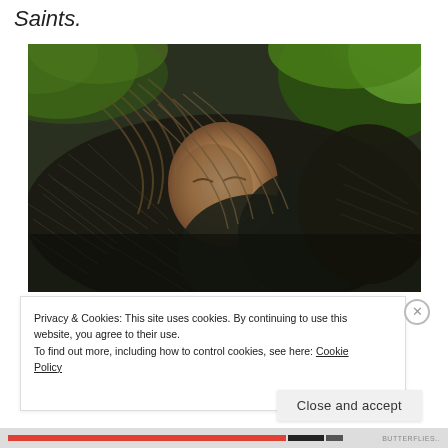Saints.
[Figure (photo): A young child with long windswept hair resting against dark fur/animal hide, surrounded by green mossy foliage in a forest setting. Cinematic, dark fantasy style photo.]
Privacy & Cookies: This site uses cookies. By continuing to use this website, you agree to their use.
To find out more, including how to control cookies, see here: Cookie Policy
Close and accept